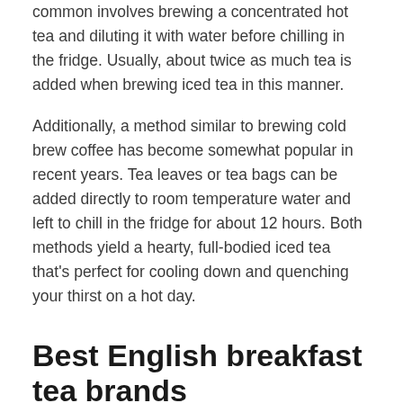common involves brewing a concentrated hot tea and diluting it with water before chilling in the fridge. Usually, about twice as much tea is added when brewing iced tea in this manner.
Additionally, a method similar to brewing cold brew coffee has become somewhat popular in recent years. Tea leaves or tea bags can be added directly to room temperature water and left to chill in the fridge for about 12 hours. Both methods yield a hearty, full-bodied iced tea that's perfect for cooling down and quenching your thirst on a hot day.
Best English breakfast tea brands